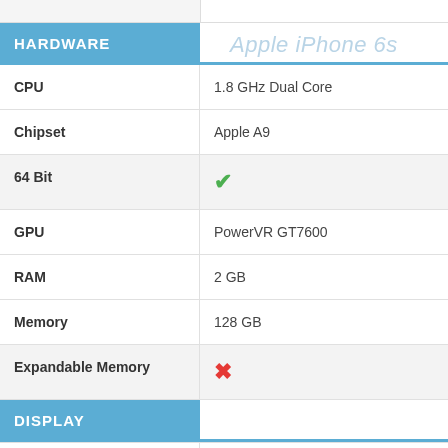Apple iPhone 6s
HARDWARE
| Feature | Value |
| --- | --- |
| CPU | 1.8 GHz Dual Core |
| Chipset | Apple A9 |
| 64 Bit | ✓ |
| GPU | PowerVR GT7600 |
| RAM | 2 GB |
| Memory | 128 GB |
| Expandable Memory | ✗ |
DISPLAY
| Feature | Value |
| --- | --- |
| Inches | 4.7 |